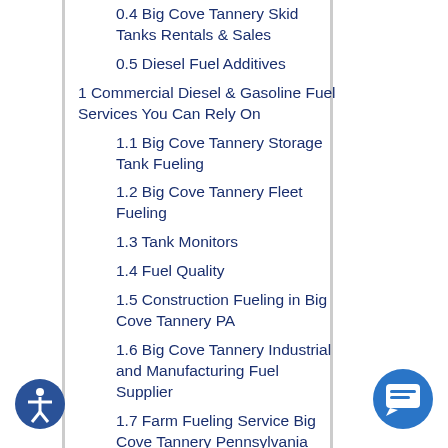0.4 Big Cove Tannery Skid Tanks Rentals & Sales
0.5 Diesel Fuel Additives
1 Commercial Diesel & Gasoline Fuel Services You Can Rely On
1.1 Big Cove Tannery Storage Tank Fueling
1.2 Big Cove Tannery Fleet Fueling
1.3 Tank Monitors
1.4 Fuel Quality
1.5 Construction Fueling in Big Cove Tannery PA
1.6 Big Cove Tannery Industrial and Manufacturing Fuel Supplier
1.7 Farm Fueling Service Big Cove Tannery Pennsylvania
1.8 Big Cove Tannery Points Of Interest and Information
2 Common Commerical Fueling